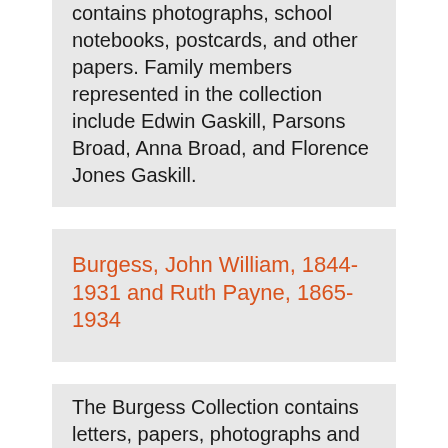contains photographs, school notebooks, postcards, and other papers. Family members represented in the collection include Edwin Gaskill, Parsons Broad, Anna Broad, and Florence Jones Gaskill.
Burgess, John William, 1844-1931 and Ruth Payne, 1865-1934
The Burgess Collection contains letters, papers, photographs and other ephemera from Columbia University Professor of Political Science John William Burgess and his second wife Ruth Payne Burgess, as well as a large amount of Ruth's artwork. Burgess's first wife was Augusta Jones, sister to Samuel Minot Jones, and the Burgess family retained ties to the Jones Library throughout their lives.
Dakin, Winthrop S. and Janet